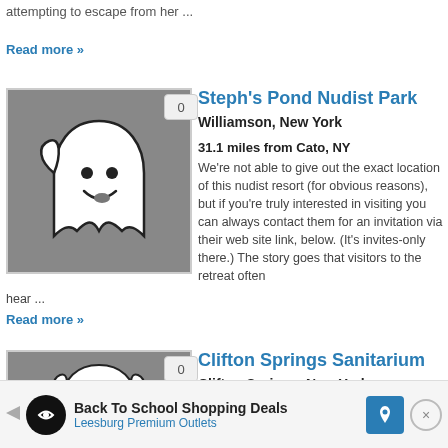attempting to escape from her ...
Read more »
[Figure (illustration): Ghost cartoon illustration on grey background with badge showing 0]
Steph's Pond Nudist Park
Williamson, New York
31.1 miles from Cato, NY
We're not able to give out the exact location of this nudist resort (for obvious reasons), but if you're truly interested in visiting you can always contact them for an invitation via their web site link, below. (It's invites-only there.) The story goes that visitors to the retreat often hear ...
Read more »
[Figure (illustration): Ghost cartoon illustration on grey background with badge showing 0]
Clifton Springs Sanitarium
Clifton Springs, New York
Back To School Shopping Deals Leesburg Premium Outlets